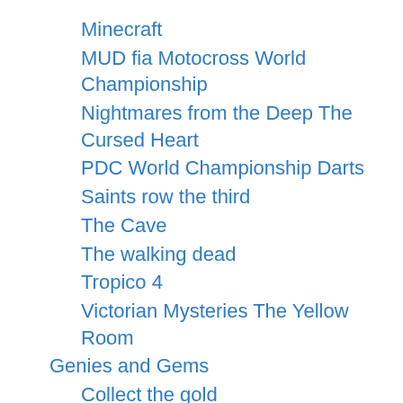Minecraft
MUD fia Motocross World Championship
Nightmares from the Deep The Cursed Heart
PDC World Championship Darts
Saints row the third
The Cave
The walking dead
Tropico 4
Victorian Mysteries The Yellow Room
Genies and Gems
Collect the gold
Match the paws
Uncover the treasure
Goat Simulator